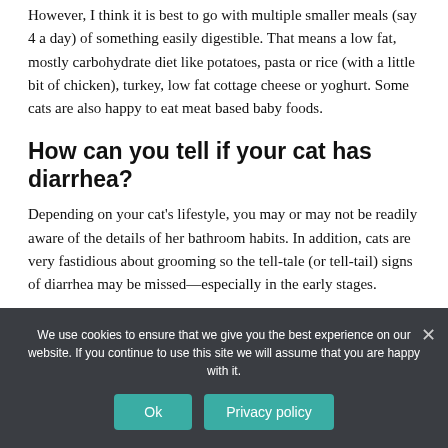However, I think it is best to go with multiple smaller meals (say 4 a day) of something easily digestible. That means a low fat, mostly carbohydrate diet like potatoes, pasta or rice (with a little bit of chicken), turkey, low fat cottage cheese or yoghurt. Some cats are also happy to eat meat based baby foods.
How can you tell if your cat has diarrhea?
Depending on your cat's lifestyle, you may or may not be readily aware of the details of her bathroom habits. In addition, cats are very fastidious about grooming so the tell-tale (or tell-tail) signs of diarrhea may be missed—especially in the early stages.
We use cookies to ensure that we give you the best experience on our website. If you continue to use this site we will assume that you are happy with it.